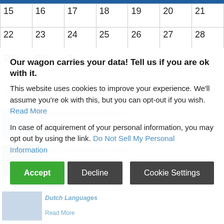| 15 | 16 | 17 | 18 | 19 | 20 | 21 |
| 22 | 23 | 24 | 25 | 26 | 27 | 28 |
| 29 | 30 | 31 |  |  |  |  |
« Jul
RELATED POSTS
[Figure (photo): Thumbnail image for Amish Built Polymer Wood Lawn Furniture post]
Amish Built Polymer Wood Lawn Furniture
Read More
[Figure (photo): Thumbnail image for How The Amish Have A Barn Raising post]
How The Amish Have A Barn Raising
Read More
[Figure (photo): Thumbnail image for The Difference In The Amish Dutch Languages post]
The Difference In The Amish Dutch Languages
Read More
Our wagon carries your data! Tell us if you are ok with it.
This website uses cookies to improve your experience. We'll assume you're ok with this, but you can opt-out if you wish. Read More
In case of acquirement of your personal information, you may opt out by using the link. Do Not Sell My Personal Information
Accept | Decline | Cookie Settings